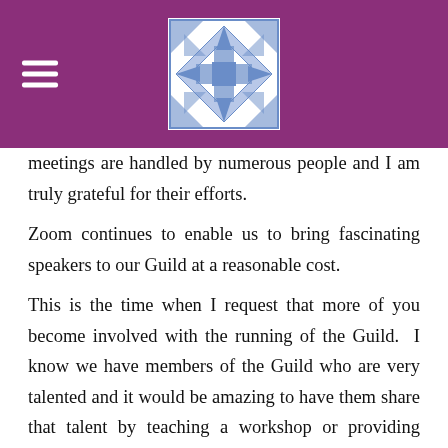[Figure (logo): Quilting guild logo: geometric star/snowflake pattern in blue and white, centered in a purple header bar with a white hamburger menu icon on the left]
meetings are handled by numerous people and I am truly grateful for their efforts. Zoom continues to enable us to bring fascinating speakers to our Guild at a reasonable cost. This is the time when I request that more of you become involved with the running of the Guild. I know we have members of the Guild who are very talented and it would be amazing to have them share that talent by teaching a workshop or providing some insight into a program. It is not necessary that you do it all yourself – we have members who would gladly share the responsibility. In January, TQG's nominating committee will begin searching for those lucky people who will assist TQG in continuing to bring fabulous